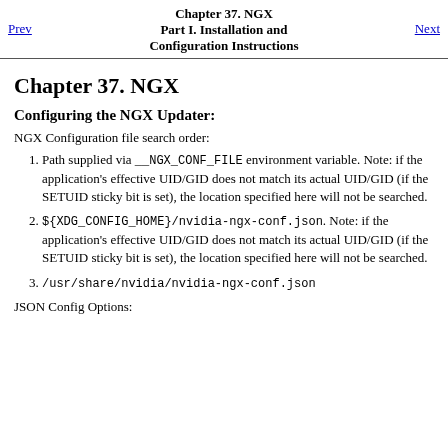Chapter 37. NGX
Part I. Installation and Configuration Instructions
Prev | Next
Chapter 37. NGX
Configuring the NGX Updater:
NGX Configuration file search order:
Path supplied via __NGX_CONF_FILE environment variable. Note: if the application's effective UID/GID does not match its actual UID/GID (if the SETUID sticky bit is set), the location specified here will not be searched.
${XDG_CONFIG_HOME}/nvidia-ngx-conf.json. Note: if the application's effective UID/GID does not match its actual UID/GID (if the SETUID sticky bit is set), the location specified here will not be searched.
/usr/share/nvidia/nvidia-ngx-conf.json
JSON Config Options: